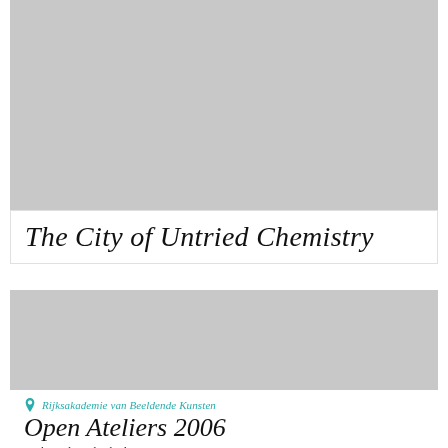[Figure (photo): Gray placeholder image occupying the upper portion of the page]
The City of Untried Chemistry
[Figure (photo): Gray placeholder image occupying the lower middle portion of the page]
Rijksakademie van Beeldende Kunsten
Open Ateliers 2006